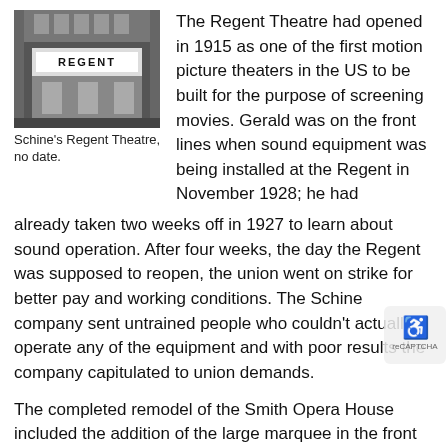[Figure (photo): Black and white photograph of Schine's Regent Theatre storefront with marquee sign reading REGENT]
Schine's Regent Theatre, no date.
The Regent Theatre had opened in 1915 as one of the first motion picture theaters in the US to be built for the purpose of screening movies. Gerald was on the front lines when sound equipment was being installed at the Regent in November 1928; he had already taken two weeks off in 1927 to learn about sound operation. After four weeks, the day the Regent was supposed to reopen, the union went on strike for better pay and working conditions. The Schine company sent untrained people who couldn't actually operate any of the equipment and with poor results the company capitulated to union demands.
The completed remodel of the Smith Opera House included the addition of the large marquee in the front of the building, which Gerald said was a sore point with the traditional Geneva citizenry. However, the marquee would remain there until Schine's Geneva Theatre closed down. Gerald eventually became manager of the theatres in 1940 and discusses the